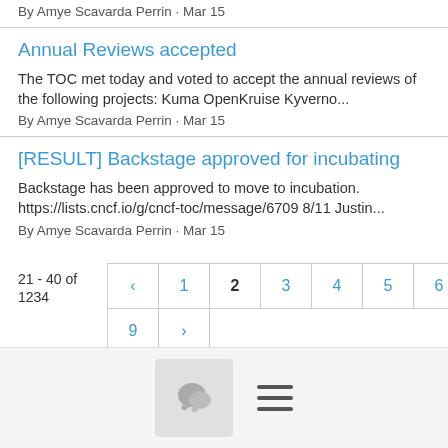By Amye Scavarda Perrin · Mar 15
Annual Reviews accepted
The TOC met today and voted to accept the annual reviews of the following projects: Kuma OpenKruise Kyverno...
By Amye Scavarda Perrin · Mar 15
[RESULT] Backstage approved for incubating
Backstage has been approved to move to incubation. https://lists.cncf.io/g/cncf-toc/message/6709 8/11 Justin...
By Amye Scavarda Perrin · Mar 15
21 - 40 of 1234
[Figure (other): Pagination control showing pages 1-9 with current page 2 highlighted, and navigation arrows]
[Figure (other): Footer bar with chat icon button and hamburger menu icon]